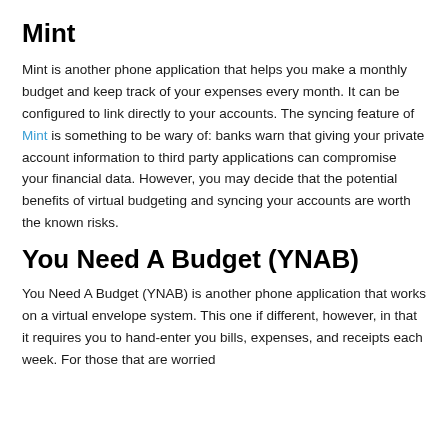Mint
Mint is another phone application that helps you make a monthly budget and keep track of your expenses every month. It can be configured to link directly to your accounts. The syncing feature of Mint is something to be wary of: banks warn that giving your private account information to third party applications can compromise your financial data. However, you may decide that the potential benefits of virtual budgeting and syncing your accounts are worth the known risks.
You Need A Budget (YNAB)
You Need A Budget (YNAB) is another phone application that works on a virtual envelope system. This one if different, however, in that it requires you to hand-enter you bills, expenses, and receipts each week. For those that are worried